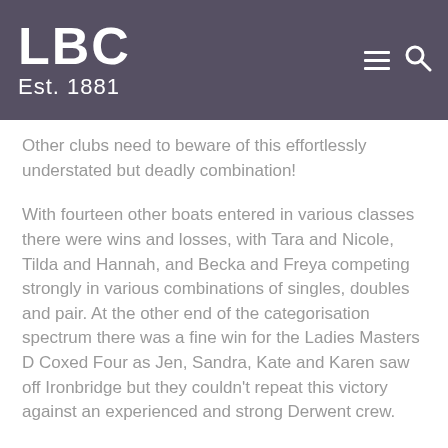LBC Est. 1881
Other clubs need to beware of this effortlessly understated but deadly combination!
With fourteen other boats entered in various classes there were wins and losses, with Tara and Nicole, Tilda and Hannah, and Becka and Freya competing strongly in various combinations of singles, doubles and pair. At the other end of the categorisation spectrum there was a fine win for the Ladies Masters D Coxed Four as Jen, Sandra, Kate and Karen saw off Ironbridge but they couldn't repeat this victory against an experienced and strong Derwent crew.